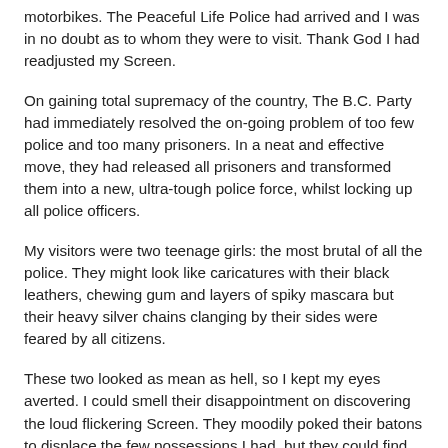motorbikes. The Peaceful Life Police had arrived and I was in no doubt as to whom they were to visit. Thank God I had readjusted my Screen.
On gaining total supremacy of the country, The B.C. Party had immediately resolved the on-going problem of too few police and too many prisoners. In a neat and effective move, they had released all prisoners and transformed them into a new, ultra-tough police force, whilst locking up all police officers.
My visitors were two teenage girls: the most brutal of all the police. They might look like caricatures with their black leathers, chewing gum and layers of spiky mascara but their heavy silver chains clanging by their sides were feared by all citizens.
These two looked as mean as hell, so I kept my eyes averted. I could smell their disappointment on discovering the loud flickering Screen. They moodily poked their batons to displace the few possessions I had, but they could find no reason to give me a Chastisement and they brushed out as